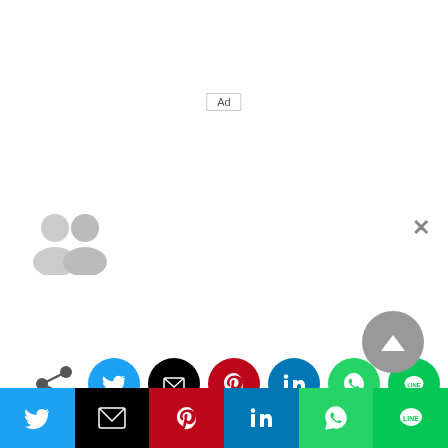[Figure (screenshot): Ad placeholder box with 'Ad' text label, centered near top of page]
[Figure (illustration): Two overlapping gray avatar/profile silhouette icons at top-left]
[Figure (illustration): Close (X) button at top-right of modal area]
[Figure (infographic): Social share row with share icon and colored circular buttons: Twitter (blue), Email (black), Pinterest (red), LinkedIn (blue), WhatsApp (green), LINE (green)]
[Figure (infographic): Scroll-to-top button (gray circle with upward triangle) at bottom-right]
[Figure (infographic): Bottom share bar with rectangular buttons: Twitter (blue), Email (black), Pinterest (red), LinkedIn (blue), WhatsApp (green), LINE (green)]